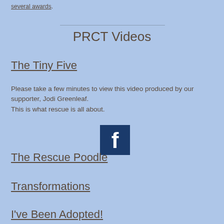several awards.
PRCT Videos
The Tiny Five
Please take a few minutes to view this video produced by our supporter, Jodi Greenleaf.
This is what rescue is all about.
[Figure (logo): Facebook logo icon - dark blue square with white 'f' letter]
The Rescue Poodle
Transformations
I've Been Adopted!
Favorite Links